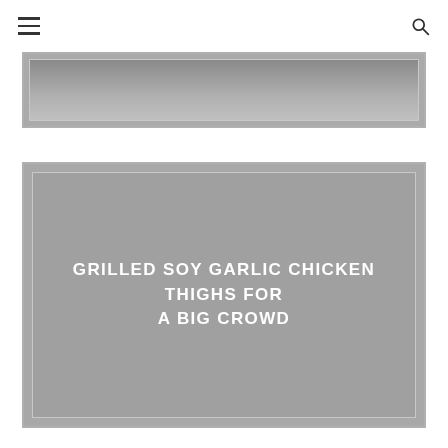≡  🔍
[Figure (photo): Partial food photo at top of page, cropped, showing grilled chicken thighs in a dark grey/blue-toned image]
[Figure (photo): Grey placeholder image with centered white text title: GRILLED SOY GARLIC CHICKEN THIGHS FOR A BIG CROWD]